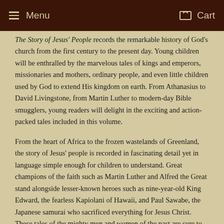Menu  Cart
The Story of Jesus' People records the remarkable history of God's church from the first century to the present day. Young children will be enthralled by the marvelous tales of kings and emperors, missionaries and mothers, ordinary people, and even little children used by God to extend His kingdom on earth. From Athanasius to David Livingstone, from Martin Luther to modern-day Bible smugglers, young readers will delight in the exciting and action-packed tales included in this volume.

From the heart of Africa to the frozen wastelands of Greenland, the story of Jesus' people is recorded in fascinating detail yet in language simple enough for children to understand. Great champions of the faith such as Martin Luther and Alfred the Great stand alongside lesser-known heroes such as nine-year-old King Edward, the fearless Kapiolani of Hawaii, and Paul Sawabe, the Japanese samurai who sacrificed everything for Jesus Christ. These tales of the mighty men and women of the past are sure to inspire and encourage a new generation to stand strong in the good fight as they continually look to Jesus.